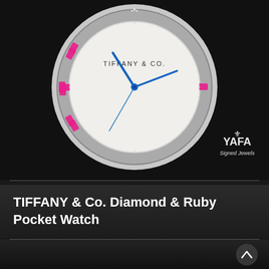[Figure (photo): Close-up photograph of a Tiffany & Co. pocket watch with a white dial, blue hands, and a bezel set with alternating pink rubies (baguette cut) and diamond clusters. The YAFA Signed Jewels logo is visible in the lower right of the image.]
TIFFANY & Co. Diamond & Ruby Pocket Watch